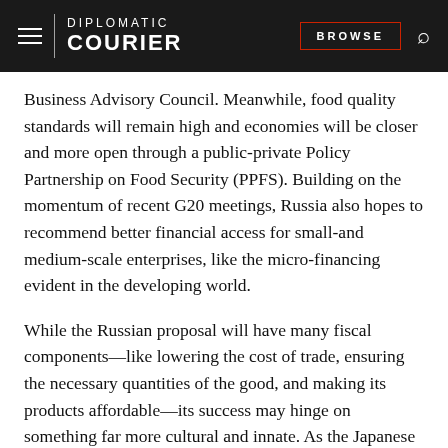DIPLOMATIC COURIER | BROWSE
Business Advisory Council. Meanwhile, food quality standards will remain high and economies will be closer and more open through a public-private Policy Partnership on Food Security (PPFS). Building on the momentum of recent G20 meetings, Russia also hopes to recommend better financial access for small-and medium-scale enterprises, like the micro-financing evident in the developing world.
While the Russian proposal will have many fiscal components—like lowering the cost of trade, ensuring the necessary quantities of the good, and making its products affordable—its success may hinge on something far more cultural and innate. As the Japanese proverb states, “A meal is no meal without rice.” Russia, or indeed any nation following this plan, must